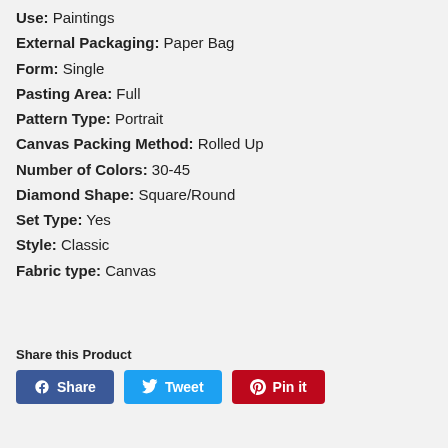Use: Paintings
External Packaging: Paper Bag
Form: Single
Pasting Area: Full
Pattern Type: Portrait
Canvas Packing Method: Rolled Up
Number of Colors: 30-45
Diamond Shape: Square/Round
Set Type: Yes
Style: Classic
Fabric type: Canvas
Share this Product
Share | Tweet | Pin it